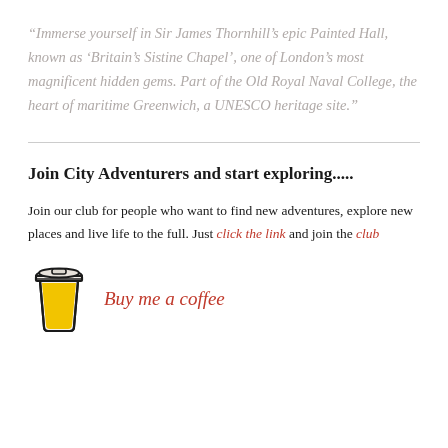“Immerse yourself in Sir James Thornhill’s epic Painted Hall, known as ‘Britain’s Sistine Chapel’, one of London’s most magnificent hidden gems. Part of the Old Royal Naval College, the heart of maritime Greenwich, a UNESCO heritage site.”
Join City Adventurers and start exploring.....
Join our club for people who want to find new adventures, explore new places and live life to the full. Just click the link and join the club
[Figure (illustration): Coffee cup icon with yellow liquid inside, drawn in a simple hand-drawn style with black outline]
Buy me a coffee